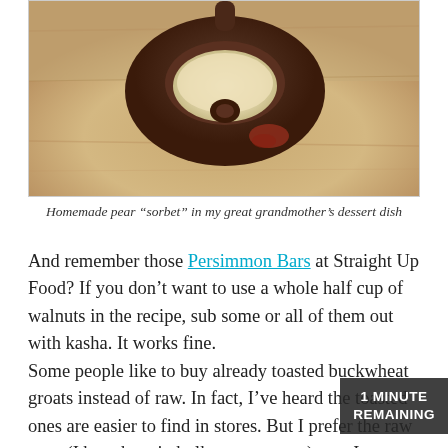[Figure (photo): Close-up photo of a decorative spoon with homemade pear sorbet, resting on a light wooden surface. The spoon appears to have ornate dark engravings.]
Homemade pear “sorbet” in my great grandmother’s dessert dish
And remember those Persimmon Bars at Straight Up Food? If you don’t want to use a whole half cup of walnuts in the recipe, sub some or all of them out with kasha. It works fine.
Some people like to buy already toasted buckwheat groats instead of raw. In fact, I’ve heard the toasted ones are easier to find in stores. But I prefer the raw ones (I buy them in bulk at my co-op.) way I can toast them or not. And I like the texture of cooked raw kasha better. Also easier for my “fibro”